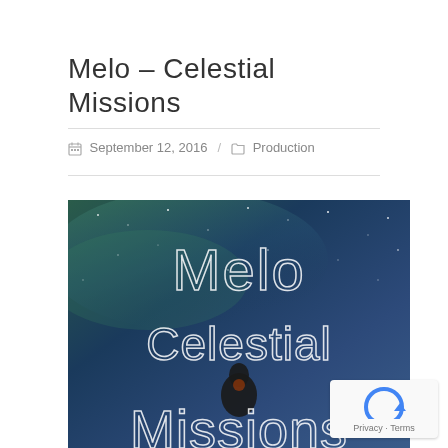Melo – Celestial Missions
September 12, 2016 / Production
[Figure (photo): Album cover art for 'Melo – Celestial Missions'. Dark night sky background with stars and aurora-like green and blue hues. A silhouetted figure stands center. Large white outline text reads 'Melo' at the top, 'Celestial' in the middle, and 'Missions' at the bottom.]